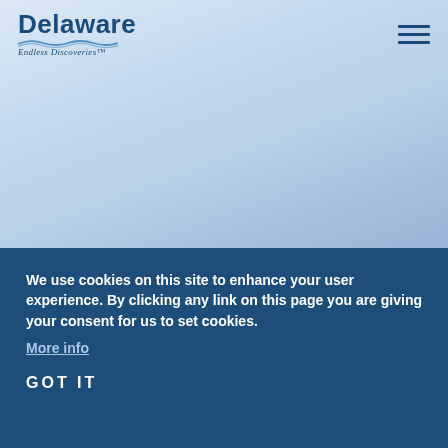[Figure (logo): Delaware Endless Discoveries logo with wave graphic]
[Figure (illustration): Hamburger menu icon with three horizontal lines]
[Figure (photo): Light blue gradient background representing a hero image area]
We use cookies on this site to enhance your user experience. By clicking any link on this page you are giving your consent for us to set cookies.
More info
GOT IT